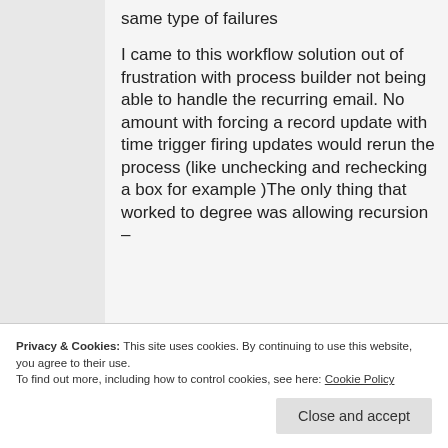same type of failures

I came to this workflow solution out of frustration with process builder not being able to handle the recurring email. No amount with forcing a record update with time trigger firing updates would rerun the process (like unchecking and rechecking a box for example )The only thing that worked to degree was allowing recursion –
Privacy & Cookies: This site uses cookies. By continuing to use this website, you agree to their use.
To find out more, including how to control cookies, see here: Cookie Policy
Close and accept
talked about making sure the